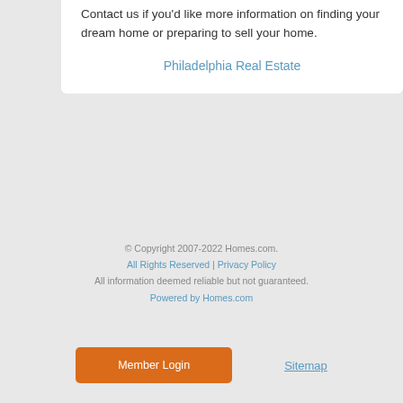Contact us if you'd like more information on finding your dream home or preparing to sell your home.
Philadelphia Real Estate
© Copyright 2007-2022 Homes.com. All Rights Reserved | Privacy Policy All information deemed reliable but not guaranteed. Powered by Homes.com
Member Login
Sitemap